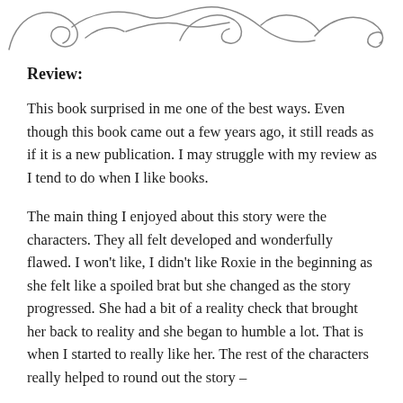[Figure (illustration): Decorative cursive/calligraphic flourish design at the top of the page, rendered in gray]
Review:
This book surprised in me one of the best ways. Even though this book came out a few years ago, it still reads as if it is a new publication. I may struggle with my review as I tend to do when I like books.
The main thing I enjoyed about this story were the characters. They all felt developed and wonderfully flawed. I won't like, I didn't like Roxie in the beginning as she felt like a spoiled brat but she changed as the story progressed. She had a bit of a reality check that brought her back to reality and she began to humble a lot. That is when I started to really like her. The rest of the characters really helped to round out the story –